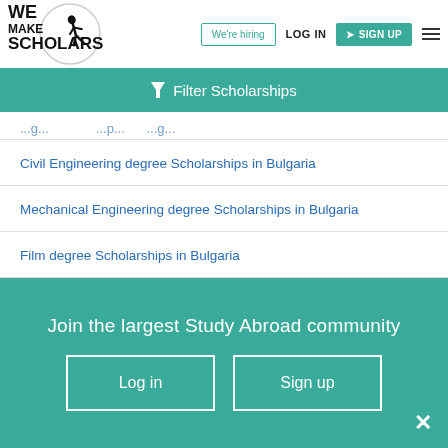We Make Scholars | We're hiring | LOG IN | SIGN UP
Filter Scholarships
Civil Engineering degree Scholarships in Bulgaria
Mechanical Engineering degree Scholarships in Bulgaria
Film degree Scholarships in Bulgaria
Pharmacy degree Scholarships in Bulgaria
Medicine degree Scholarships in Bulgaria
Join the largest Study Abroad community
Log in | Sign up